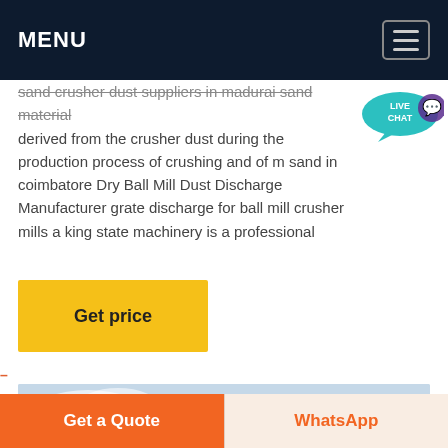MENU
sand crusher dust suppliers in madurai sand material derived from the crusher dust during the production process of crushing and of m sand in coimbatore Dry Ball Mill Dust Discharge Manufacturer grate discharge for ball mill crusher mills a king state machinery is a professional
[Figure (other): Yellow 'Get price' button]
[Figure (photo): Sky with clouds, light blue sky background with white clouds]
[Figure (other): Bottom bar with 'Get a Quote' orange button and 'WhatsApp' button]